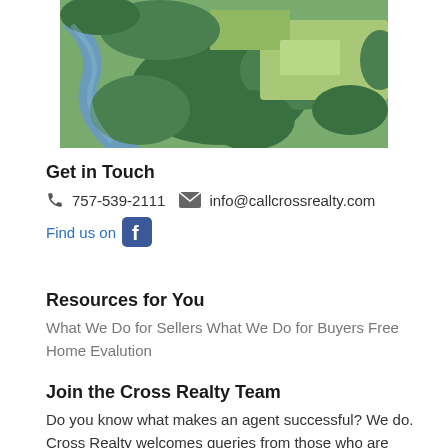[Figure (photo): Aerial view of a river winding through green fields and trees, with lush countryside landscape.]
Get in Touch
📞 757-539-2111 ✉ info@callcrossrealty.com
Find us on [Facebook]
Resources for You
What We Do for Sellers What We Do for Buyers Free Home Evalution
Join the Cross Realty Team
Do you know what makes an agent successful? We do. Cross Realty welcomes queries from those who are